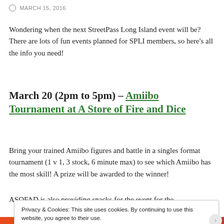MARCH 15, 2016
Wondering when the next StreetPass Long Island event will be? There are lots of fun events planned for SPLI members, so here's all the info you need!
March 20 (2pm to 5pm) – Amiibo Tournament at A Store of Fire and Dice
Bring your trained Amiibo figures and battle in a singles format tournament (1 v 1, 3 stock, 6 minute max) to see which Amiibo has the most skill! A prize will be awarded to the winner!
ASOFAD is...
Privacy & Cookies: This site uses cookies. By continuing to use this website, you agree to their use.
To find out more, including how to control cookies, see here: Cookie Policy
Close and accept